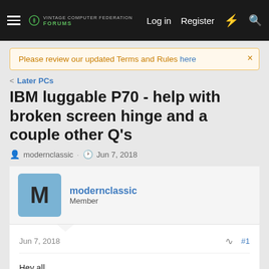Log in | Register
Please review our updated Terms and Rules here
< Later PCs
IBM luggable P70 - help with broken screen hinge and a couple other Q's
modernclassic · Jun 7, 2018
modernclassic
Member
Jun 7, 2018  #1
Hey all,

Longtime lurker, first time poster. I just got what I hoped was a decent deal on a PS/2 P70 that looked to be in really good shape but had a startup error that I thought might just be a